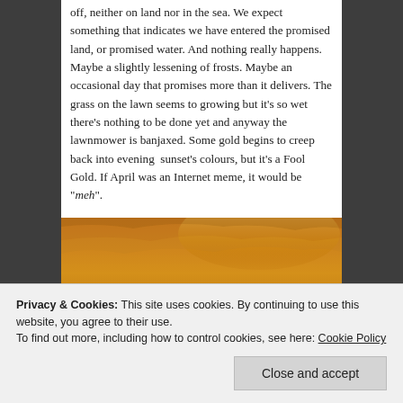off, neither on land nor in the sea. We expect something that indicates we have entered the promised land, or promised water. And nothing really happens. Maybe a slightly lessening of frosts. Maybe an occasional day that promises more than it delivers. The grass on the lawn seems to growing but it's so wet there's nothing to be done yet and anyway the lawnmower is banjaxed. Some gold begins to creep back into evening  sunset's colours, but it's a Fool Gold. If April was an Internet meme, it would be "meh".
[Figure (photo): A coastal sunset photograph showing a golden-orange sky with clouds over a calm sea, with land/cliffs visible on the right side.]
Privacy & Cookies: This site uses cookies. By continuing to use this website, you agree to their use.
To find out more, including how to control cookies, see here: Cookie Policy
Close and accept
I have long thought of April's place in the open...